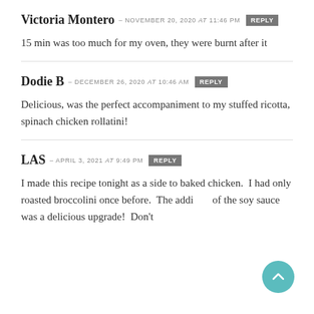Victoria Montero – NOVEMBER 20, 2020 at 11:46 PM  REPLY
15 min was too much for my oven, they were burnt after it
Dodie B – DECEMBER 26, 2020 at 10:46 AM  REPLY
Delicious, was the perfect accompaniment to my stuffed ricotta, spinach chicken rollatini!
LAS – APRIL 3, 2021 at 9:49 PM  REPLY
I made this recipe tonight as a side to baked chicken.  I had only roasted broccolini once before.  The addition of the soy sauce was a delicious upgrade!  Don't